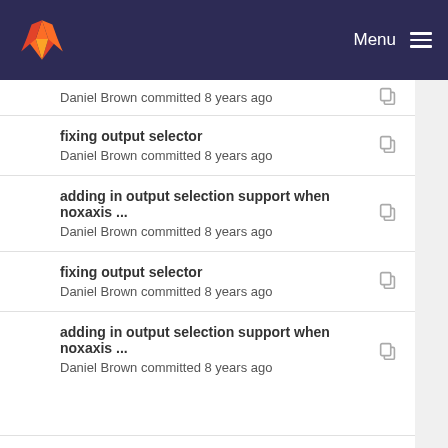GitLab — Menu
fixing output selector
Daniel Brown committed 8 years ago
adding in output selection support when noxaxis ...
Daniel Brown committed 8 years ago
fixing output selector
Daniel Brown committed 8 years ago
adding in output selection support when noxaxis ...
Daniel Brown committed 8 years ago
adding more selection options for when 1d and 2d...
Daniel Brown committed 8 years ago
output now correctly returns detector values whe...